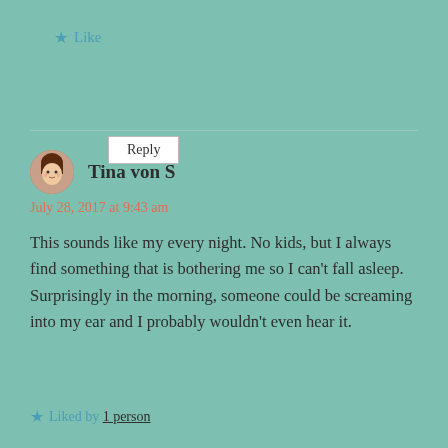★ Like
Reply
Tina von S
July 28, 2017 at 9:43 am
This sounds like my every night. No kids, but I always find something that is bothering me so I can't fall asleep. Surprisingly in the morning, someone could be screaming into my ear and I probably wouldn't even hear it.
★ Liked by 1 person